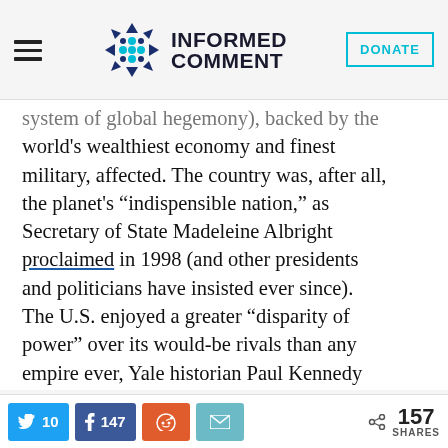Informed Comment — Header with hamburger menu, logo, and DONATE button
system of global hegemony), backed by the world's wealthiest economy and finest military, affected. The country was, after all, the planet's “indispensible nation,” as Secretary of State Madeleine Albright proclaimed in 1998 (and other presidents and politicians have insisted ever since). The U.S. enjoyed a greater “disparity of power” over its would-be rivals than any empire ever, Yale historian Paul Kennedy announced in 2002. Certainly, it would
Share buttons: Twitter 10, Facebook 147, Reddit, Email | 157 SHARES